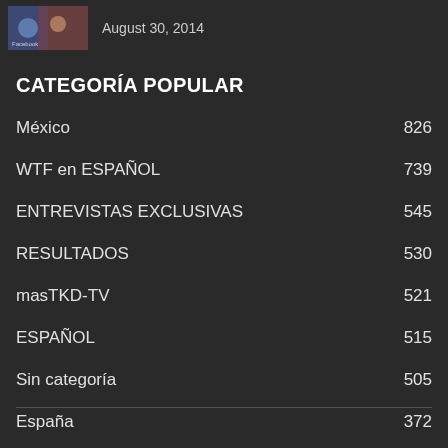August 30, 2014
CATEGORÍA POPULAR
México  826
WTF en ESPAÑOL  739
ENTREVISTAS EXCLUSIVAS  545
RESULTADOS  530
masTKD-TV  521
ESPAÑOL  515
Sin categoría  505
España  372